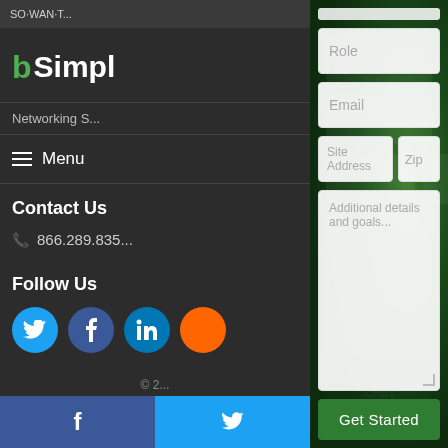[Figure (screenshot): Website sidebar with logo bSimpl and Networking S... text, Menu navigation, Contact Us section with phone 866.289.835..., Follow Us section with Twitter, Facebook, LinkedIn social icons, and copyright footer. Bottom bar with Facebook and Twitter icons.]
Role
Email
Site Address
Zip
Additional details and goals...
Get Started